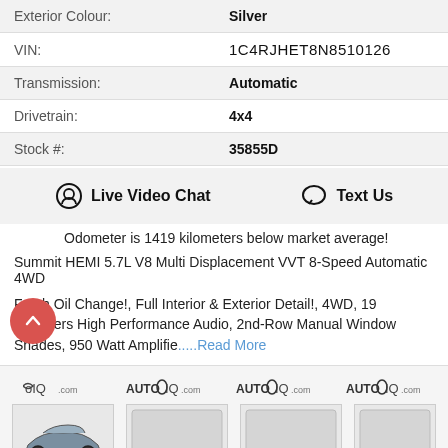| Label | Value |
| --- | --- |
| Exterior Colour: | Silver |
| VIN: | 1C4RJHET8N8510126 |
| Transmission: | Automatic |
| Drivetrain: | 4x4 |
| Stock #: | 35855D |
Live Video Chat   Text Us
Odometer is 1419 kilometers below market average!
Summit HEMI 5.7L V8 Multi Displacement VVT 8-Speed Automatic 4WD
Fresh Oil Change!, Full Interior & Exterior Detail!, 4WD, 19 Speakers High Performance Audio, 2nd-Row Manual Window Shades, 950 Watt Amplifie.....Read More
[Figure (photo): Gallery thumbnails showing car images with AUTOIQ.com logos]